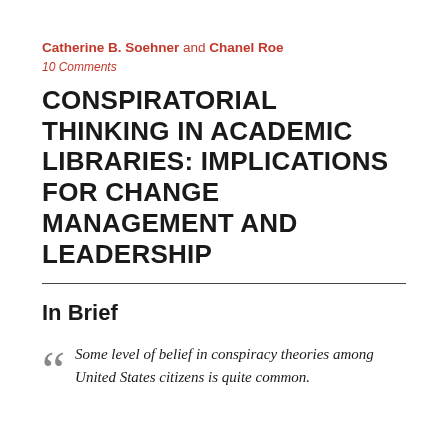Catherine B. Soehner and Chanel Roe
10 Comments
CONSPIRATORIAL THINKING IN ACADEMIC LIBRARIES: IMPLICATIONS FOR CHANGE MANAGEMENT AND LEADERSHIP
In Brief
Some level of belief in conspiracy theories among United States citizens is quite common.